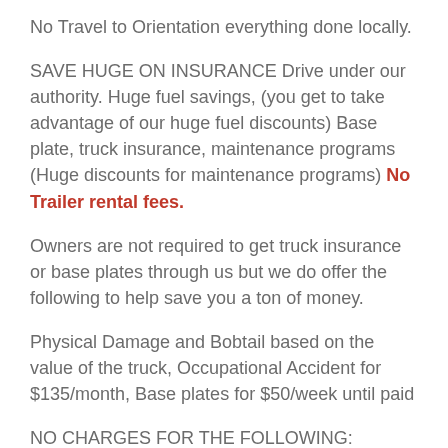No Travel to Orientation everything done locally.
SAVE HUGE ON INSURANCE Drive under our authority. Huge fuel savings, (you get to take advantage of our huge fuel discounts) Base plate, truck insurance, maintenance programs (Huge discounts for maintenance programs) No Trailer rental fees.
Owners are not required to get truck insurance or base plates through us but we do offer the following to help save you a ton of money.
Physical Damage and Bobtail based on the value of the truck, Occupational Accident for $135/month, Base plates for $50/week until paid
NO CHARGES FOR THE FOLLOWING: